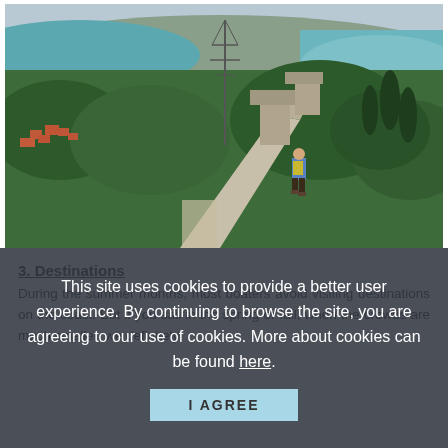[Figure (photo): Aerial view of a person with a backpack walking along ancient stone fortress walls. Green hillside landscape with turquoise sea bay visible in the background, along with terracotta-roofed buildings and cypress trees.]
3. Destinations
During the summer months, most boaters avoid visiting destinations on the coast. But if you sail in the spring or fall, when the crowds are much smaller, we definitely
This site uses cookies to provide a better user experience. By continuing to browse the site, you are agreeing to our use of cookies. More about cookies can be found here